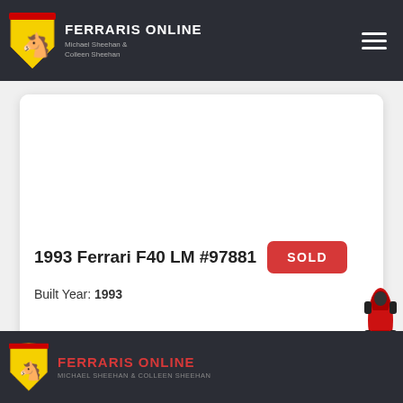FERRARIS ONLINE — Michael Sheehan & Colleen Sheehan
1993 Ferrari F40 LM #97881
Built Year: 1993
[Figure (logo): Ferrari shield logo, yellow with black prancing horse]
FERRARIS ONLINE — MICHAEL SHEEHAN & COLLEEN SHEEHAN